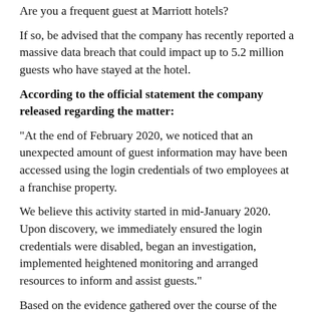Are you a frequent guest at Marriott hotels?
If so, be advised that the company has recently reported a massive data breach that could impact up to 5.2 million guests who have stayed at the hotel.
According to the official statement the company released regarding the matter:
"At the end of February 2020, we noticed that an unexpected amount of guest information may have been accessed using the login credentials of two employees at a franchise property.
We believe this activity started in mid-January 2020. Upon discovery, we immediately ensured the login credentials were disabled, began an investigation, implemented heightened monitoring and arranged resources to inform and assist guests."
Based on the evidence gathered over the course of the company's investigation so far, they believe that the information exposed includes details like: